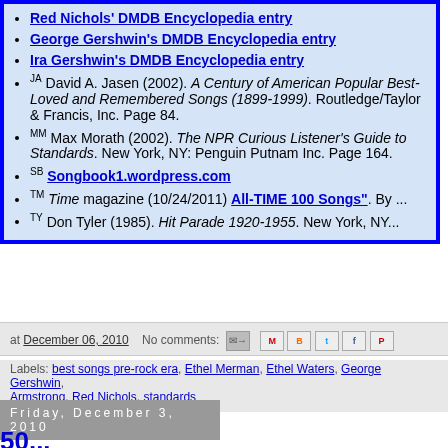Red Nichols' DMDB Encyclopedia entry
George Gershwin's DMDB Encyclopedia entry
Ira Gershwin's DMDB Encyclopedia entry
JA David A. Jasen (2002). A Century of American Popular Best-Loved and Remembered Songs (1899-1999). Routledge/Taylor & Francis, Inc. Page 84.
MM Max Morath (2002). The NPR Curious Listener's Guide to Standards. New York, NY: Penguin Putnam Inc. Page 164.
SB Songbook1.wordpress.com
TM Time magazine (10/24/2011) All-TIME 100 Songs". By ...
TY Don Tyler (1985). Hit Parade 1920-1955. New York, NY...
at December 06, 2010   No comments:
Labels: best songs pre-rock era, Ethel Merman, Ethel Waters, George Gershwin, Armstrong, Red Nichols, standards
Friday, December 3, 2010
50...